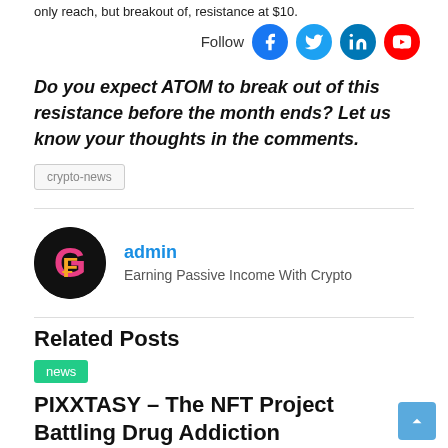only reach, but breakout of, resistance at $10.
Follow
Do you expect ATOM to break out of this resistance before the month ends? Let us know your thoughts in the comments.
crypto-news
admin
Earning Passive Income With Crypto
Related Posts
news
PIXXTASY – The NFT Project Battling Drug Addiction